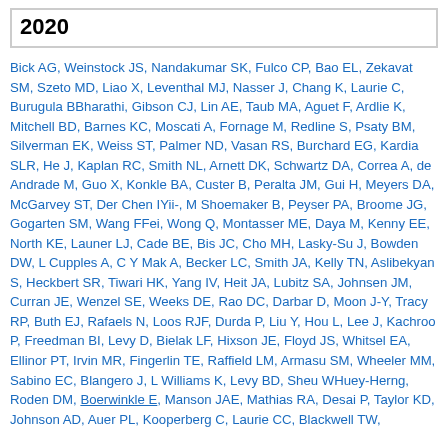2020
Bick AG, Weinstock JS, Nandakumar SK, Fulco CP, Bao EL, Zekavat SM, Szeto MD, Liao X, Leventhal MJ, Nasser J, Chang K, Laurie C, Burugula BBharathi, Gibson CJ, Lin AE, Taub MA, Aguet F, Ardlie K, Mitchell BD, Barnes KC, Moscati A, Fornage M, Redline S, Psaty BM, Silverman EK, Weiss ST, Palmer ND, Vasan RS, Burchard EG, Kardia SLR, He J, Kaplan RC, Smith NL, Arnett DK, Schwartz DA, Correa A, de Andrade M, Guo X, Konkle BA, Custer B, Peralta JM, Gui H, Meyers DA, McGarvey ST, Der Chen IYii-, M Shoemaker B, Peyser PA, Broome JG, Gogarten SM, Wang FFei, Wong Q, Montasser ME, Daya M, Kenny EE, North KE, Launer LJ, Cade BE, Bis JC, Cho MH, Lasky-Su J, Bowden DW, L Cupples A, C Y Mak A, Becker LC, Smith JA, Kelly TN, Aslibekyan S, Heckbert SR, Tiwari HK, Yang IV, Heit JA, Lubitz SA, Johnsen JM, Curran JE, Wenzel SE, Weeks DE, Rao DC, Darbar D, Moon J-Y, Tracy RP, Buth EJ, Rafaels N, Loos RJF, Durda P, Liu Y, Hou L, Lee J, Kachroo P, Freedman BI, Levy D, Bielak LF, Hixson JE, Floyd JS, Whitsel EA, Ellinor PT, Irvin MR, Fingerlin TE, Raffield LM, Armasu SM, Wheeler MM, Sabino EC, Blangero J, L Williams K, Levy BD, Sheu WHuey-Herng, Roden DM, Boerwinkle E, Manson JAE, Mathias RA, Desai P, Taylor KD, Johnson AD, Auer PL, Kooperberg C, Laurie CC, Blackwell TW,